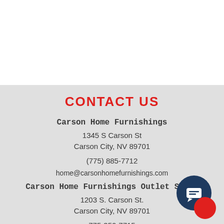CONTACT US
Carson Home Furnishings
1345 S Carson St
Carson City, NV 89701
(775) 885-7712
home@carsonhomefurnishings.com
Carson Home Furnishings Outlet Store
1203 S. Carson St.
Carson City, NV 89701
775-350-7715
[Figure (illustration): Chat widget icon — dark navy circle with white chat bubble icon overlapping a red circle, bottom-right corner]